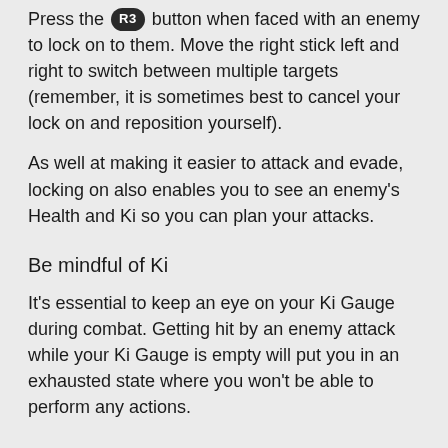Press the R3 button when faced with an enemy to lock on to them. Move the right stick left and right to switch between multiple targets (remember, it is sometimes best to cancel your lock on and reposition yourself).
As well at making it easier to attack and evade, locking on also enables you to see an enemy's Health and Ki so you can plan your attacks.
Be mindful of Ki
It's essential to keep an eye on your Ki Gauge during combat. Getting hit by an enemy attack while your Ki Gauge is empty will put you in an exhausted state where you won't be able to perform any actions.
Master the Ki Pulse
After each attack, a blue light will pulse around you – press the R1 button to activate your Ki Pulse and instantly